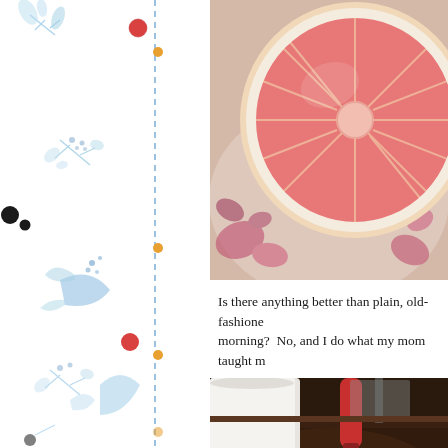[Figure (illustration): Decorative left border strip with blue botanical/floral watercolor illustrations, red berries, black dots, orange dots, and a vertical blue dashed line]
[Figure (photo): Close-up photo of a halved pink/red grapefruit on a floral china plate]
Is there anything better than plain, old-fashioned grapefruit in the morning?  No, and I do what my mom taught m
[Figure (photo): Close-up photo of what appears to be a cast iron skillet or dark pan with a red-handled kitchen tool, kitchen sink visible in background]